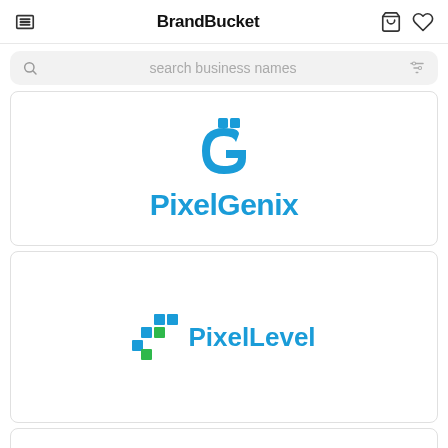BrandBucket
search business names
[Figure (logo): PixelGenix logo — blue G-shaped icon with pixel cutout above blue bold text 'PixelGenix']
[Figure (logo): PixelLevel logo — blue/green pixel grid icon beside blue bold text 'PixelLevel']
[Figure (logo): Partial third card at bottom, cut off]